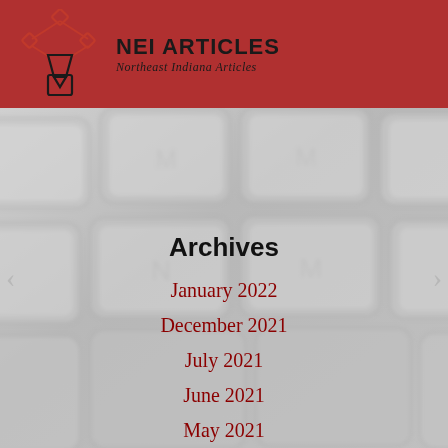[Figure (logo): NEI Articles logo with pen/diamond icon in red and black, brand name 'NEI ARTICLES' and subtitle 'Northeast Indiana Articles' on red banner background]
[Figure (photo): Close-up photo of grey keyboard keys, slightly blurred, used as background for the archives content area]
Archives
January 2022
December 2021
July 2021
June 2021
May 2021